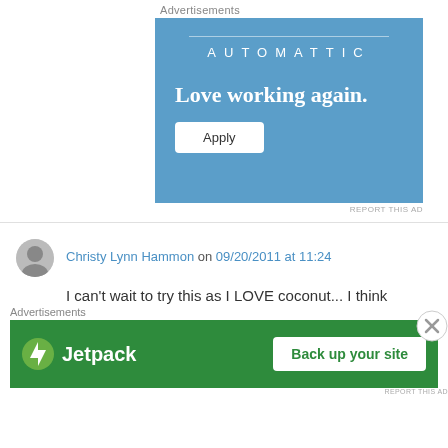Advertisements
[Figure (screenshot): Automattic advertisement banner with blue background. Shows 'AUTOMATTIC' text at top, 'Love working again.' tagline in white bold text, and an 'Apply' white button.]
REPORT THIS AD
Christy Lynn Hammon on 09/20/2011 at 11:24
I can't wait to try this as I LOVE coconut... I think
Advertisements
[Figure (screenshot): Jetpack advertisement banner with green background. Shows Jetpack logo on left and 'Back up your site' white button on right.]
REPORT THIS AD